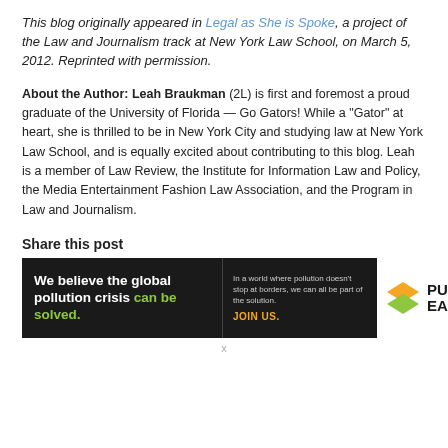This blog originally appeared in Legal as She is Spoke, a project of the Law and Journalism track at New York Law School, on March 5, 2012. Reprinted with permission.
About the Author: Leah Braukman (2L) is first and foremost a proud graduate of the University of Florida — Go Gators!  While a "Gator" at heart, she is thrilled to be in New York City and studying law at New York Law School, and is equally excited about contributing to this blog. Leah is a member of Law Review, the Institute for Information Law and Policy, the Media Entertainment Fashion Law Association, and the Program in Law and Journalism.
Share this post
[Figure (other): Pure Earth advertisement banner. Black background with white bold text: 'We believe the global pollution crisis can be solved.' (can be solved in green). Middle section: 'In a world where pollution doesn't stop at borders, we can all be part of the solution.' and 'JOIN US.' in orange. Right section: Pure Earth logo with diamond/chevron icon in orange and green.]
x